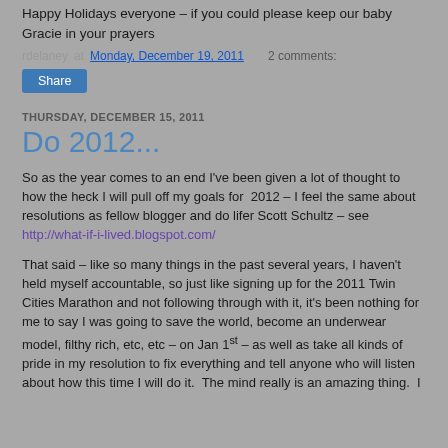Happy Holidays everyone – if you could please keep our baby Gracie in your prayers
rdelaney at Monday, December 19, 2011   2 comments:
Share
THURSDAY, DECEMBER 15, 2011
Do 2012...
So as the year comes to an end I've been given a lot of thought to how the heck I will pull off my goals for  2012 – I feel the same about resolutions as fellow blogger and do lifer Scott Schultz – see http://what-if-i-lived.blogspot.com/
That said – like so many things in the past several years, I haven't held myself accountable, so just like signing up for the 2011 Twin Cities Marathon and not following through with it, it's been nothing for me to say I was going to save the world, become an underwear model, filthy rich, etc, etc – on Jan 1st – as well as take all kinds of pride in my resolution to fix everything and tell anyone who will listen about how this time I will do it.  The mind really is an amazing thing.  I